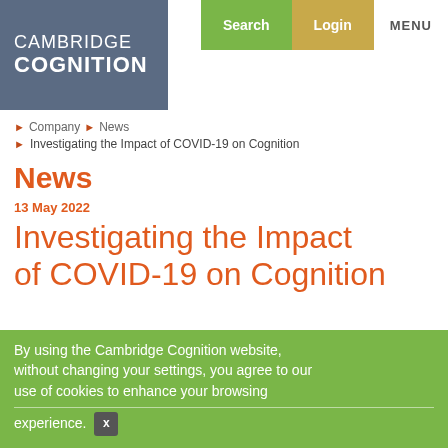[Figure (logo): Cambridge Cognition logo on grey-blue background]
Search   Login   MENU
Company  ▶  News
▶  Investigating the Impact of COVID-19 on Cognition
News
13 May 2022
Investigating the Impact of COVID-19 on Cognition
By using the Cambridge Cognition website, without changing your settings, you agree to our use of cookies to enhance your browsing experience.